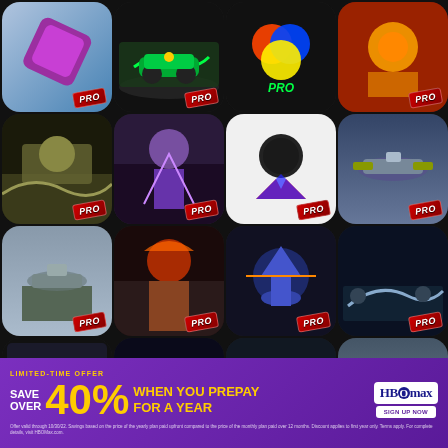[Figure (screenshot): App store grid showing 20+ game/app icons, mostly action games and utilities with PRO badges. Bottom overlay shows HBO Max advertisement: LIMITED-TIME OFFER SAVE OVER 40% WHEN YOU PREPAY FOR A YEAR with fine print about offer validity.]
LIMITED-TIME OFFER
SAVE OVER 40%
WHEN YOU PREPAY FOR A YEAR
HBOmax
SIGN UP NOW
Offer valid through 10/30/22. Savings based on the price of the yearly plan paid upfront compared to the price of the monthly plan paid over 12 months. Discount applies to first year only. Terms apply. For complete details, visit HBOMax.com.